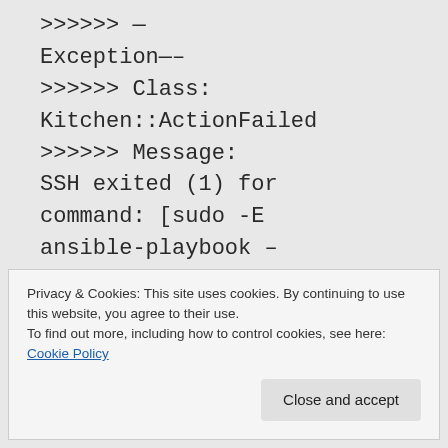>>>>>> ——
Exception——-
>>>>>> Class:
Kitchen::ActionFailed
>>>>>> Message:
SSH exited (1) for
command: [sudo -E
ansible-playbook –
inventory-
file=/tmp/kitchen/host
s -c local -M
Privacy & Cookies: This site uses cookies. By continuing to use this website, you agree to their use.
To find out more, including how to control cookies, see here: Cookie Policy